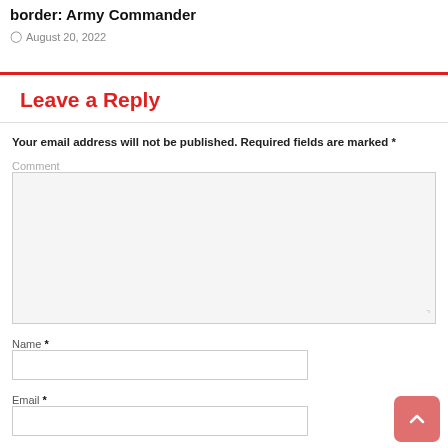border: Army Commander
August 20, 2022
Leave a Reply
Your email address will not be published. Required fields are marked *
Comment
Name *
Email *